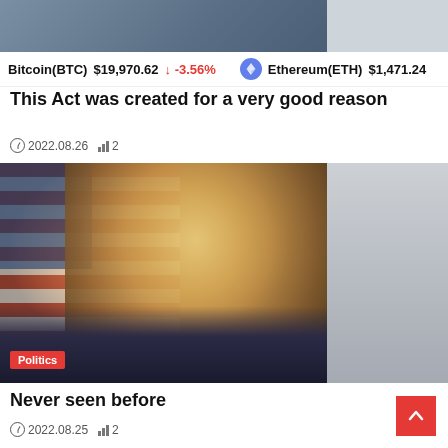[Figure (photo): Partial top image of a person in a suit, cropped at top of page]
Bitcoin(BTC) $19,970.62 ↓ -3.56%  Ethereum(ETH) $1,471.24
This Act was created for a very good reason
2022.08.26  2
[Figure (photo): Photo of Donald Trump smiling, wearing a dark suit and patterned blue tie, with an American flag visible in the background. A red Politics badge is overlaid at the bottom left.]
Never seen before
2022.08.25  2